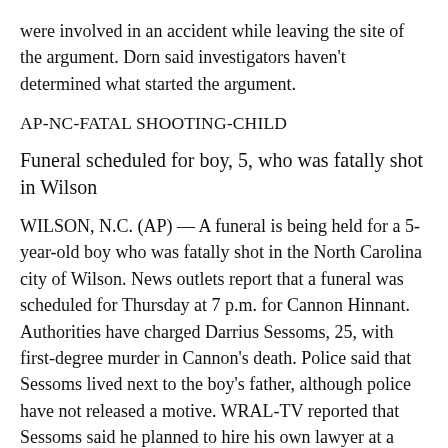were involved in an accident while leaving the site of the argument. Dorn said investigators haven't determined what started the argument.
AP-NC-FATAL SHOOTING-CHILD
Funeral scheduled for boy, 5, who was fatally shot in Wilson
WILSON, N.C. (AP) — A funeral is being held for a 5-year-old boy who was fatally shot in the North Carolina city of Wilson. News outlets report that a funeral was scheduled for Thursday at 7 p.m. for Cannon Hinnant. Authorities have charged Darrius Sessoms, 25, with first-degree murder in Cannon's death. Police said that Sessoms lived next to the boy's father, although police have not released a motive. WRAL-TV reported that Sessoms said he planned to hire his own lawyer at a court hearing on Tuesday. He rejected a judge's attempt to appoint an attorney for him. The Wilson County clerk's office said Thursday that he had still not hired an attorney.
TODDLER SHOOTS SELF
Police charge man after 2-year-old finds gun, shoots self